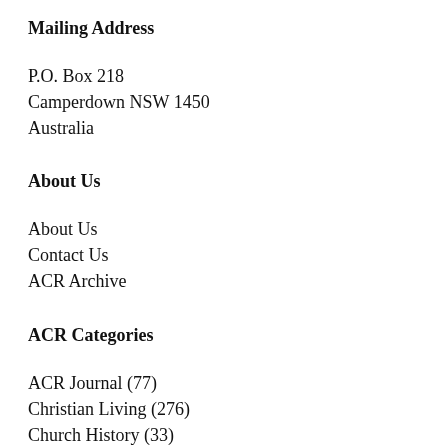Mailing Address
P.O. Box 218
Camperdown NSW 1450
Australia
About Us
About Us
Contact Us
ACR Archive
ACR Categories
ACR Journal (77)
Christian Living (276)
Church History (33)